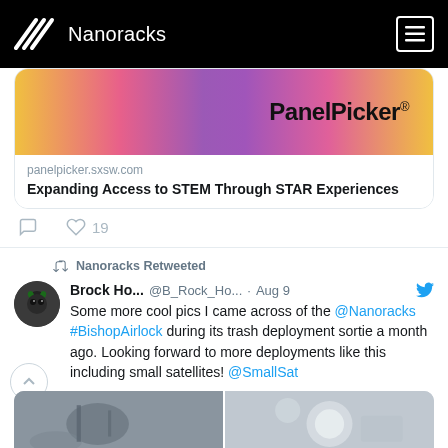[Figure (screenshot): Nanoracks website header with logo (diagonal white lines icon) and navigation menu hamburger icon on black background]
[Figure (screenshot): PanelPicker colorful banner image with purple, orange, pink gradient background and PanelPicker text]
panelpicker.sxsw.com
Expanding Access to STEM Through STAR Experiences
19 likes
Nanoracks Retweeted
Brock Ho... @B_Rock_Ho... · Aug 9
Some more cool pics I came across of the @Nanoracks #BishopAirlock during its trash deployment sortie a month ago. Looking forward to more deployments like this including small satellites! @SmallSat
[Figure (photo): Two side-by-side photos at the bottom of the tweet showing space-related equipment]